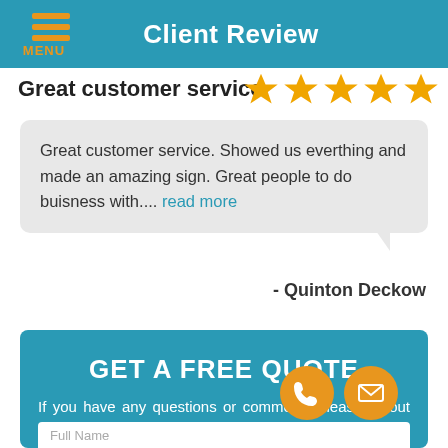Client Review
Great customer service.
[Figure (infographic): Five gold/yellow star rating icons]
Great customer service. Showed us everthing and made an amazing sign. Great people to do buisness with.... read more
- Quinton Deckow
GET A FREE QUOTE
If you have any questions or comments please fill out the following form and one of our representatives will contact you as soon as possible.